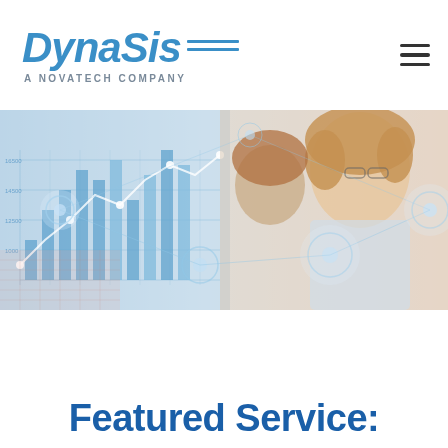[Figure (logo): DynaSis logo with two horizontal lines and subtitle 'A NOVATECH COMPANY']
[Figure (photo): Hero banner: a woman smiling in an office environment overlaid with blue digital analytics charts and data visualization graphics]
Featured Service: